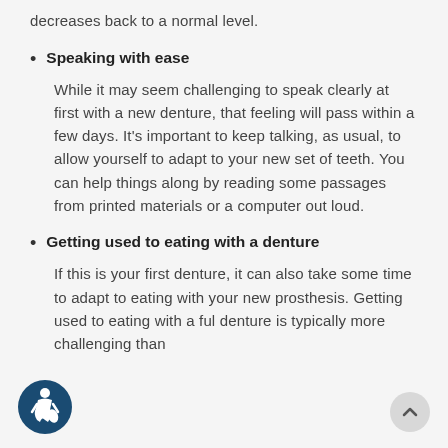decreases back to a normal level.
Speaking with ease

While it may seem challenging to speak clearly at first with a new denture, that feeling will pass within a few days. It's important to keep talking, as usual, to allow yourself to adapt to your new set of teeth. You can help things along by reading some passages from printed materials or a computer out loud.
Getting used to eating with a denture

If this is your first denture, it can also take some time to adapt to eating with your new prosthesis. Getting used to eating with a full denture is typically more challenging than